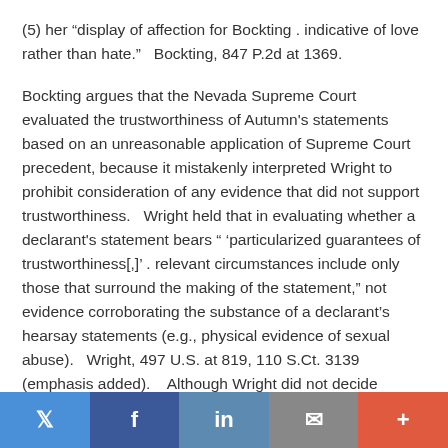(5) her “display of affection for Bockting . indicative of love rather than hate.”   Bockting, 847 P.2d at 1369.
Bockting argues that the Nevada Supreme Court evaluated the trustworthiness of Autumn's statements based on an unreasonable application of Supreme Court precedent, because it mistakenly interpreted Wright to prohibit consideration of any evidence that did not support trustworthiness.   Wright held that in evaluating whether a declarant's statement bears “ ‘particularized guarantees of trustworthiness[,]’ . relevant circumstances include only those that surround the making of the statement,” not evidence corroborating the substance of a declarant’s hearsay statements (e.g., physical evidence of sexual abuse).   Wright, 497 U.S. at 819, 110 S.Ct. 3139 (emphasis added).   Although Wright did not decide whether courts may consider noncorroborating evidence that refutes the
Twitter | Facebook | LinkedIn | Email | +